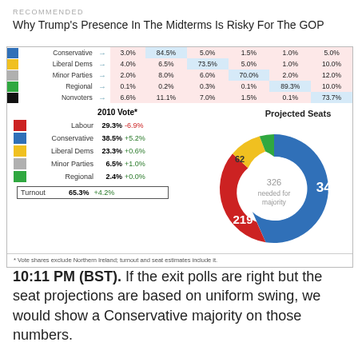RECOMMENDED
Why Trump's Presence In The Midterms Is Risky For The GOP
|  |  |  | Con | LibDem | Minor | Regional | Nonvoter |
| --- | --- | --- | --- | --- | --- | --- | --- |
| [blue] | Conservative | → | 3.0% | 84.5% | 5.0% | 1.5% | 1.0% | 5.0% |
| [yellow] | Liberal Dems | → | 4.0% | 6.5% | 73.5% | 5.0% | 1.0% | 10.0% |
| [gray] | Minor Parties | → | 2.0% | 8.0% | 6.0% | 70.0% | 2.0% | 12.0% |
| [green] | Regional | → | 0.1% | 0.2% | 0.3% | 0.1% | 89.3% | 10.0% |
| [black] | Nonvoters | → | 6.6% | 11.1% | 7.0% | 1.5% | 0.1% | 73.7% |
|  | 2010 Vote* | Change |
| --- | --- | --- |
| Labour | 29.3% | -6.9% |
| Conservative | 38.5% | +5.2% |
| Liberal Dems | 23.3% | +0.6% |
| Minor Parties | 6.5% | +1.0% |
| Regional | 2.4% | +0.0% |
| Turnout | 65.3% | +4.2% |
[Figure (donut-chart): Projected Seats]
* Vote shares exclude Northern Ireland; turnout and seat estimates include it.
10:11 PM (BST). If the exit polls are right but the seat projections are based on uniform swing, we would show a Conservative majority on those numbers.